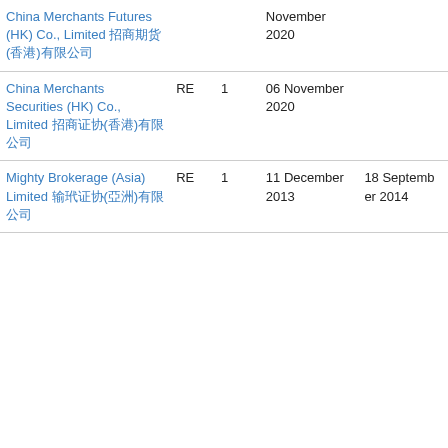| Name | Type | Num | Date 1 | Date 2 |
| --- | --- | --- | --- | --- |
| China Merchants Futures (HK) Co., Limited 招商期貨(香港)有限公司 |  |  | November 2020 |  |
| China Merchants Securities (HK) Co., Limited 招商證券(香港)有限公司 | RE | 1 | 06 November 2020 |  |
| Mighty Brokerage (Asia) Limited 輝煌證券(亞洲)有限公司 | RE | 1 | 11 December 2013 | 18 September 2014 |